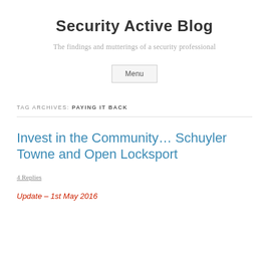Security Active Blog
The findings and mutterings of a security professional
Menu
TAG ARCHIVES: PAYING IT BACK
Invest in the Community… Schuyler Towne and Open Locksport
4 Replies
Update – 1st May 2016